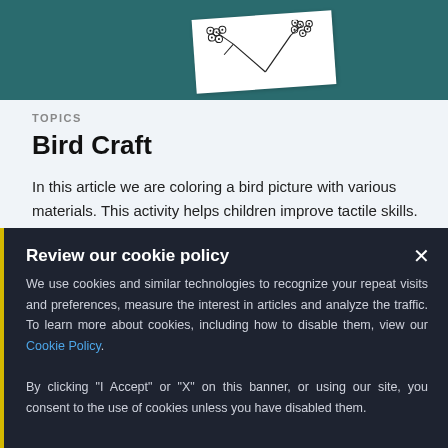[Figure (illustration): Illustration of berry branches on a white paper card against teal background]
TOPICS
Bird Craft
In this article we are coloring a bird picture with various materials. This activity helps children improve tactile skills. Printable material is included.
Review our cookie policy
We use cookies and similar technologies to recognize your repeat visits and preferences, measure the interest in articles and analyze the traffic. To learn more about cookies, including how to disable them, view our Cookie Policy.
By clicking "I Accept" or "X" on this banner, or using our site, you consent to the use of cookies unless you have disabled them.